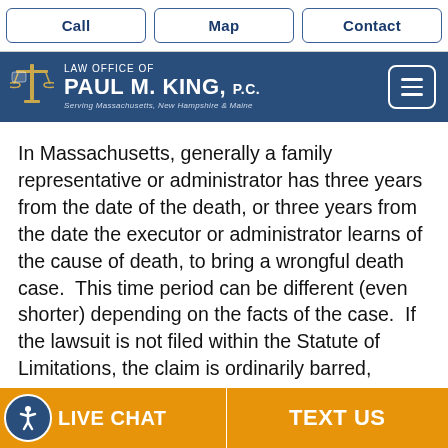Call | Map | Contact
[Figure (logo): Law Office of Paul M. King, P.C. logo with scales of justice icon. Serving Massachusetts, New Hampshire & Maine. Navigation menu button.]
In Massachusetts, generally a family representative or administrator has three years from the date of the death, or three years from the date the executor or administrator learns of the cause of death, to bring a wrongful death case.  This time period can be different (even shorter) depending on the facts of the case.  If the lawsuit is not filed within the Statute of Limitations, the claim is ordinarily barred,
LIVE CHAT | TEXT US